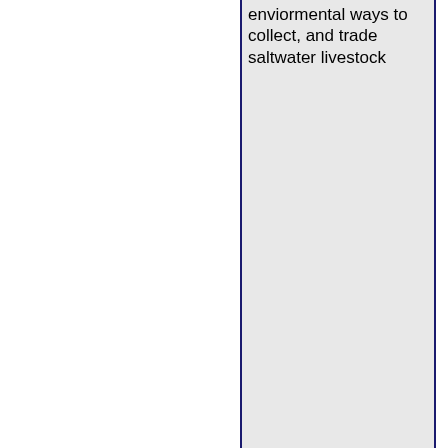enviormental ways to collect, and trade saltwater livestock